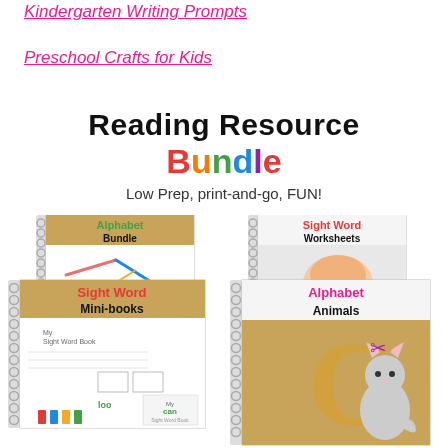Kindergarten Writing Prompts
Preschool Crafts for Kids
Reading Resource Bundle - Low Prep, print-and-go, FUN!
[Figure (illustration): Four spiral-bound educational workbooks: 'Alphabet Bundle', 'Sight Word Worksheets', 'Sight Word Mini-books', and 'Alphabet Animals', arranged in an overlapping stack.]